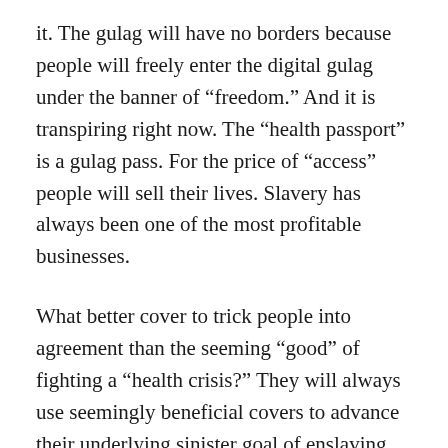it. The gulag will have no borders because people will freely enter the digital gulag under the banner of “freedom.” And it is transpiring right now. The “health passport” is a gulag pass. For the price of “access” people will sell their lives. Slavery has always been one of the most profitable businesses.
What better cover to trick people into agreement than the seeming “good” of fighting a “health crisis?” They will always use seemingly beneficial covers to advance their underlying sinister goal of enslaving the planet. It is a long-stated goal, and the current facade of “health and well-being” is tailormade to advance it. It is impossible to sell blatant evil to people, it must be dressed up in seemingly “good” intentions.